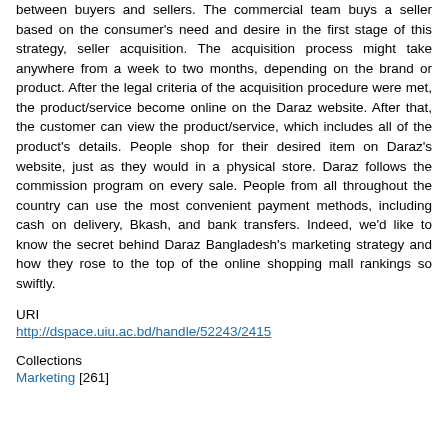between buyers and sellers. The commercial team buys a seller based on the consumer's need and desire in the first stage of this strategy, seller acquisition. The acquisition process might take anywhere from a week to two months, depending on the brand or product. After the legal criteria of the acquisition procedure were met, the product/service become online on the Daraz website. After that, the customer can view the product/service, which includes all of the product's details. People shop for their desired item on Daraz's website, just as they would in a physical store. Daraz follows the commission program on every sale. People from all throughout the country can use the most convenient payment methods, including cash on delivery, Bkash, and bank transfers. Indeed, we'd like to know the secret behind Daraz Bangladesh's marketing strategy and how they rose to the top of the online shopping mall rankings so swiftly.
URI
http://dspace.uiu.ac.bd/handle/52243/2415
Collections
Marketing [261]